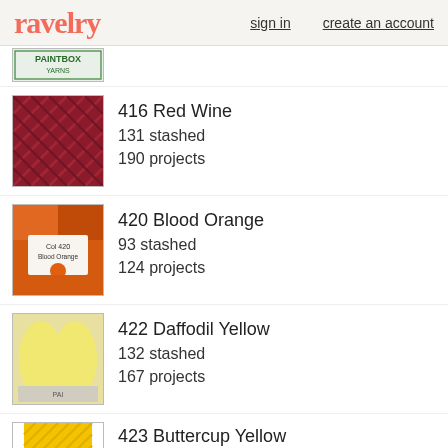ravelry  sign in  create an account
[Figure (photo): Partial view of Paintbox Yarns logo/label at top, cut off]
416 Red Wine
131 stashed
190 projects
[Figure (photo): Deep red/crimson yarn skein photo for 416 Red Wine]
420 Blood Orange
93 stashed
124 projects
[Figure (photo): Orange yarn with label showing Blood Orange color 420]
422 Daffodil Yellow
132 stashed
167 projects
[Figure (photo): Light yellow yarn skeins photo for 422 Daffodil Yellow]
423 Buttercup Yellow
117 stashed
208 projects
[Figure (photo): Bright yellow yarn skein for 423 Buttercup Yellow]